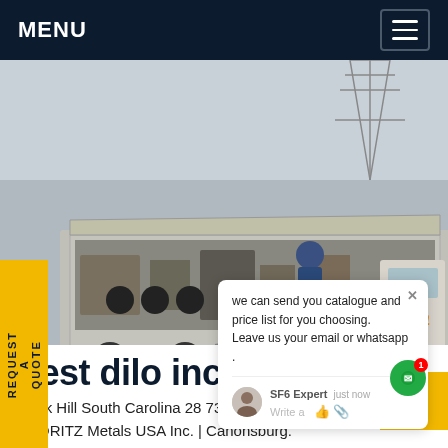MENU
[Figure (photo): An industrial SF6 gas equipment truck parked outdoors near power transmission towers, with open side panels revealing equipment. A worker in blue coveralls is visible inside.]
REQUEST A QUOTE
we can send you catalogue and price list for you choosing.
Leave us your email or whatsapp .
SF6 Expert   just now
Write a
best dilo inc Colombia
Rock Hill South Carolina 28730. United States of America. ANDRITZ Metals USA Inc. | Canonsburg.